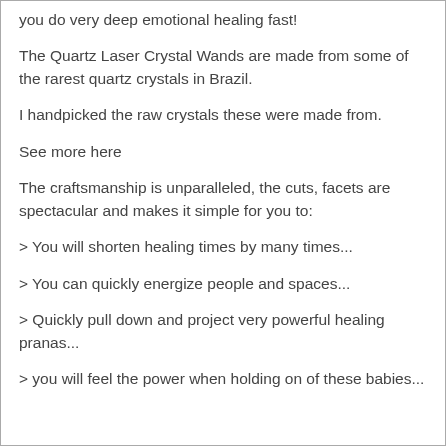you do very deep emotional healing fast!
The Quartz Laser Crystal Wands are made from some of the rarest quartz crystals in Brazil.
I handpicked the raw crystals these were made from.
See more here
The craftsmanship is unparalleled, the cuts, facets are spectacular and makes it simple for you to:
> You will shorten healing times by many times...
> You can quickly energize people and spaces...
> Quickly pull down and project very powerful healing pranas...
> you will feel the power when holding on of these babies...